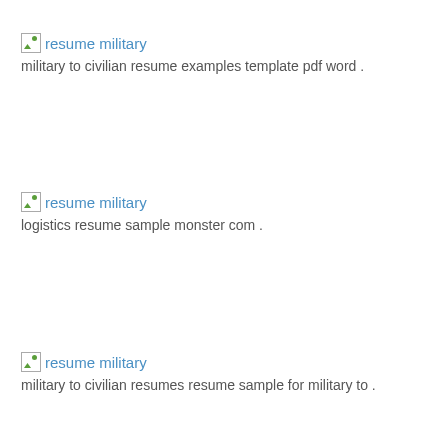[Figure (other): Broken image icon placeholder]
resume military
military to civilian resume examples template pdf word .
[Figure (other): Broken image icon placeholder]
resume military
logistics resume sample monster com .
[Figure (other): Broken image icon placeholder]
resume military
military to civilian resumes resume sample for military to .